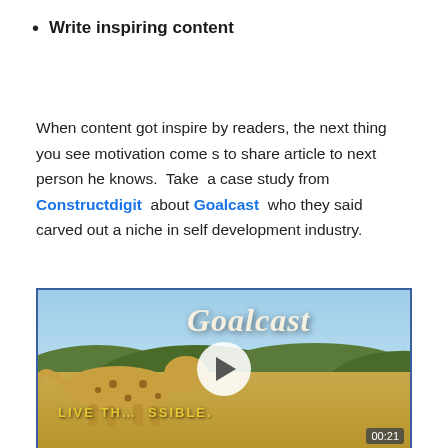Write inspiring content
When content got inspire by readers, the next thing you see motivation come s to share article to next person he knows.  Take  a case study from Constructdigit  about Goalcast  who they said carved out a niche in self development industry.
[Figure (screenshot): Goalcast video thumbnail showing a cheetah running on a savanna with text 'Goalcast' and 'LIVE THE POSSIBLE.' and a play button, with duration 00:21 in the bottom right corner.]